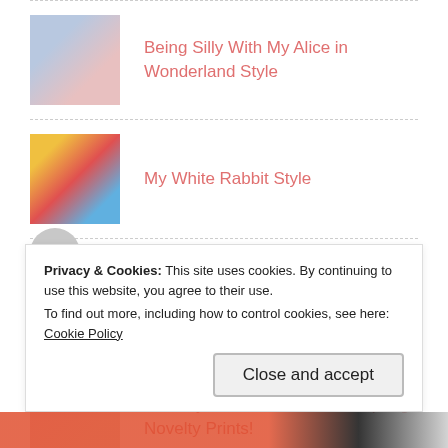Being Silly With My Alice in Wonderland Style
My White Rabbit Style
Good Morning Dallas!
Monday Must Haves: Sweet Spring Novelty Prints!
Privacy & Cookies: This site uses cookies. By continuing to use this website, you agree to their use.
To find out more, including how to control cookies, see here: Cookie Policy
Close and accept